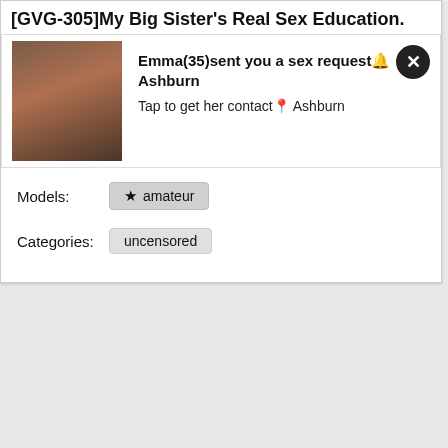[GVG-305]My Big Sister's Real Sex Education.
[Figure (photo): Advertisement overlay with a photo on the left and text on the right reading: Emma(35)sent you a sex request Ashburn / Tap to get her contact Ashburn, with a close button]
Models:
★ amateur
Categories:
uncensored